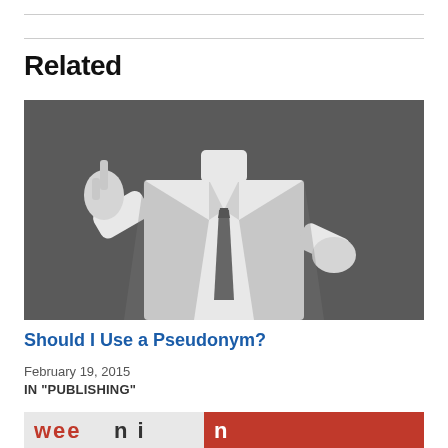Related
[Figure (photo): Headless man in white dress shirt and dark tie, pointing upward with one hand, other hand on hip, against dark gray background]
Should I Use a Pseudonym?
February 19, 2015
IN "PUBLISHING"
[Figure (photo): Partially visible image at bottom showing colorful text on white/red background, cropped]